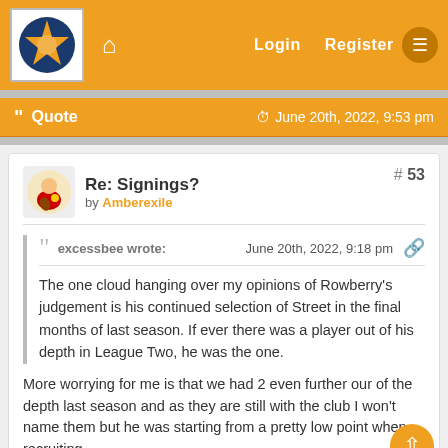Login  Register
Quote  June 20th, 2022, 9:53 pm
Re: Signings? by Amberexile  # 53
excessbee wrote:  June 20th, 2022, 9:18 pm
The one cloud hanging over my opinions of Rowberry's judgement is his continued selection of Street in the final months of last season. If ever there was a player out of his depth in League Two, he was the one.
More worrying for me is that we had 2 even further our of the depth last season and as they are still with the club I won't name them but he was starting from a pretty low point when recruiting